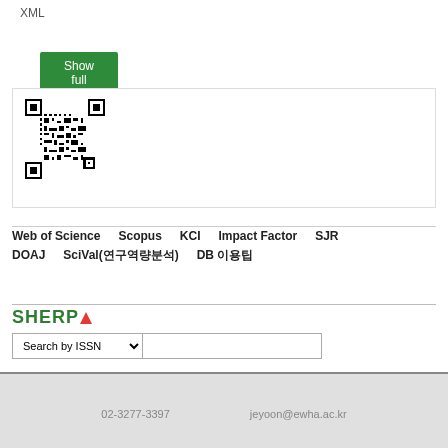XML
Show full item record
[Figure (other): QR code image linking to item record]
Web of Science   Scopus   KCI   Impact Factor   SJR   DOAJ   SciVal(연구역량분석)   DB 이용팁
[Figure (logo): SHERPA logo with red triangle]
Search by ISSN (dropdown) with text input field
02-3277-3397    jeyoon@ewha.ac.kr